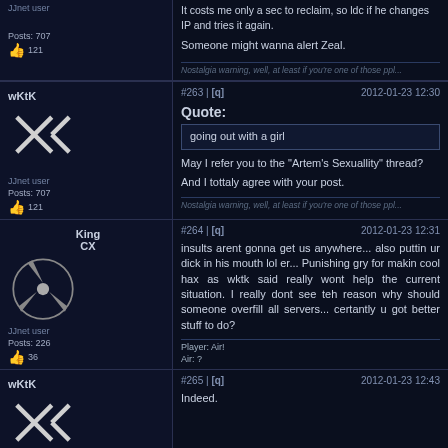It costs me only a sec to reclaim, so ldc if he changes IP and tries it again.
Someone might wanna alert Zeal.
Nostalgia warning, well, at least if you're one of those ppl...
#263 | [q]   2012-01-23 12:30
Quote: going out with a girl
May I refer you to the "Artem's Sexuallity" thread?
And I tottaly agree with your post.
Nostalgia warning, well, at least if you're one of those ppl...
#264 | [q]   2012-01-23 12:31
insults arent gonna get us anywhere... also puttin ur dick in his mouth lol er... Punishing gry for makin cool hax as wktk said really wont help the current situation. I really dont see teh reason why should someone overfill all servers... certantly u got better stuff to do?
Player: Air!
Air: ?
#265 | [q]   2012-01-23 12:43
Indeed.